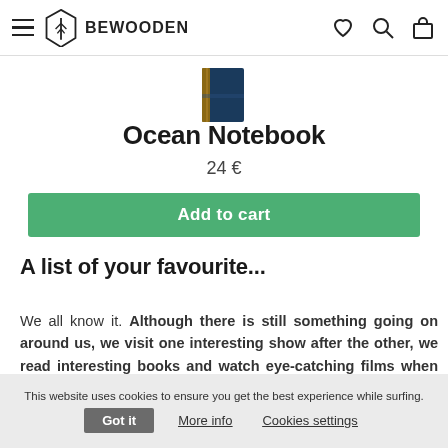BEWOODEN — navigation bar with hamburger menu, logo, heart icon, search icon, cart icon
[Figure (photo): Partial view of Ocean Notebook product image (notebook with wooden cover, navy blue)]
Ocean Notebook
24 €
Add to cart
A list of your favourite...
We all know it. Although there is still something going on around us, we visit one interesting show after the other, we read interesting books and watch eye-catching films when our friends ask us if we can recommend something and then suddenly everything is forgotten. There is no
This website uses cookies to ensure you get the best experience while surfing. Got it   More info   Cookies settings